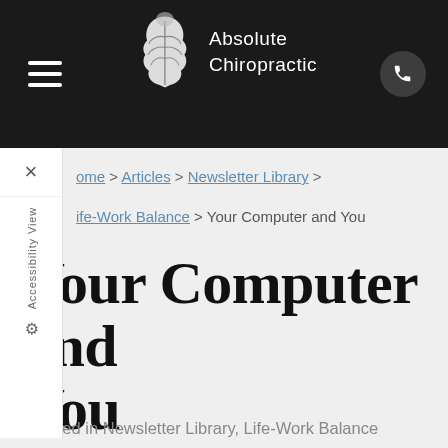[Figure (logo): Absolute Chiropractic logo with stylized spine graphic and text 'Absolute Chiropractic' on dark navigation bar]
Home > Articles > Newsletter Library >
Life-Work Balance > Your Computer and You
Your Computer and You
Created in Newsletter Library, Life-Work Balance